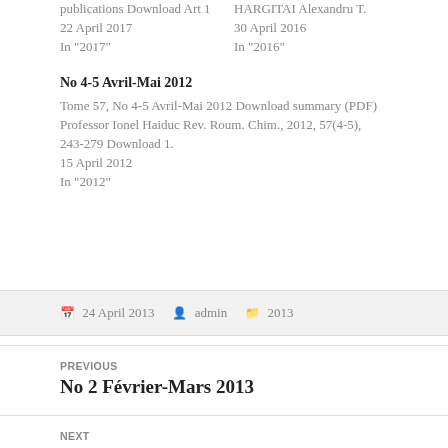publications Download Art 1
22 April 2017
In "2017"
HARGITAI Alexandru T.
30 April 2016
In "2016"
No 4-5 Avril-Mai 2012
Tome 57, No 4-5 Avril-Mai 2012 Download summary (PDF) Professor Ionel Haiduc Rev. Roum. Chim., 2012, 57(4-5), 243-279 Download 1.
15 April 2012
In "2012"
24 April 2013   admin   2013
PREVIOUS
No 2 Février-Mars 2013
NEXT